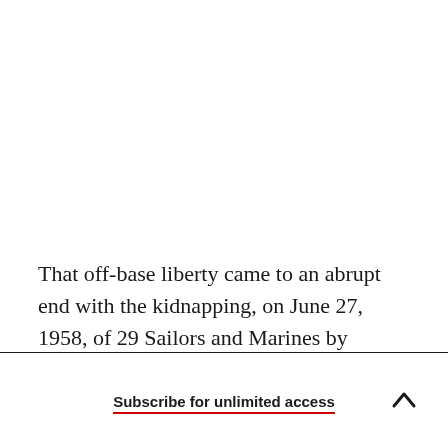That off-base liberty came to an abrupt end with the kidnapping, on June 27, 1958, of 29 Sailors and Marines by Cuban rebel forces under Raul Castro, Fidel's brother, six months before they gained victory over the Batista government.
Subscribe for unlimited access